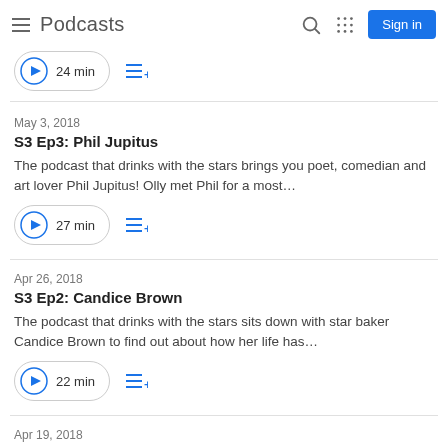Podcasts
24 min
May 3, 2018
S3 Ep3: Phil Jupitus
The podcast that drinks with the stars brings you poet, comedian and art lover Phil Jupitus! Olly met Phil for a most…
27 min
Apr 26, 2018
S3 Ep2: Candice Brown
The podcast that drinks with the stars sits down with star baker Candice Brown to find out about how her life has…
22 min
Apr 19, 2018